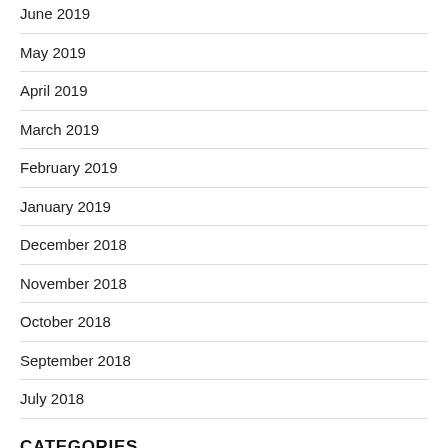June 2019
May 2019
April 2019
March 2019
February 2019
January 2019
December 2018
November 2018
October 2018
September 2018
July 2018
CATEGORIES
BANK JOBS